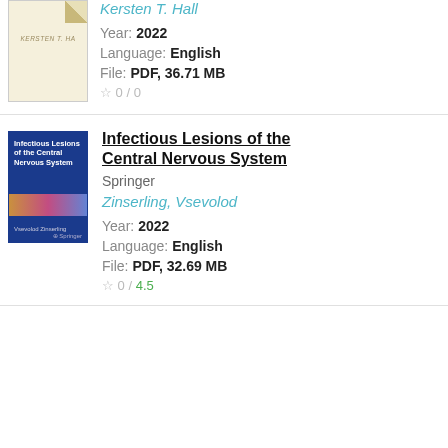[Figure (illustration): Partial book cover with gold/cream background and curled top-right corner, showing author name 'KERSTEN T. HA...']
Kersten T. Hall
Year: 2022
Language: English
File: PDF, 36.71 MB
☆ 0 / 0
[Figure (illustration): Book cover for 'Infectious Lesions of the Central Nervous System' published by Springer, blue cover with colorful abstract stripe]
Infectious Lesions of the Central Nervous System
Springer
Zinserling, Vsevolod
Year: 2022
Language: English
File: PDF, 32.69 MB
☆ 0 / 4.5